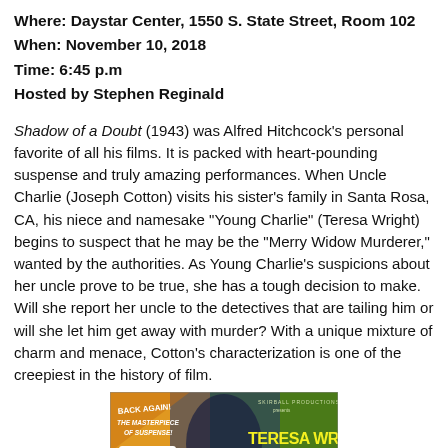Where: Daystar Center, 1550 S. State Street, Room 102
When: November 10, 2018
Time: 6:45 p.m
Hosted by Stephen Reginald
Shadow of a Doubt (1943) was Alfred Hitchcock's personal favorite of all his films. It is packed with heart-pounding suspense and truly amazing performances. When Uncle Charlie (Joseph Cotton) visits his sister's family in Santa Rosa, CA, his niece and namesake "Young Charlie" (Teresa Wright) begins to suspect that he may be the "Merry Widow Murderer," wanted by the authorities. As Young Charlie's suspicions about her uncle prove to be true, she has a tough decision to make. Will she report her uncle to the detectives that are tailing him or will she let him get away with murder? With a unique mixture of charm and menace, Cotton's characterization is one of the creepiest in the history of film.
[Figure (illustration): Movie poster for Shadow of a Doubt featuring Teresa Wright and Joseph Cotten, with text 'Back Again! The Masterpiece of Suspense!' on an orange and green background.]